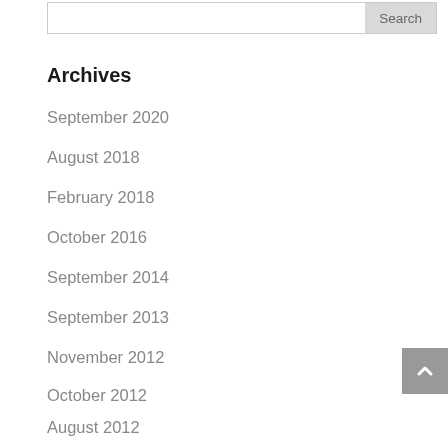Search
Archives
September 2020
August 2018
February 2018
October 2016
September 2014
September 2013
November 2012
October 2012
August 2012
July 2012